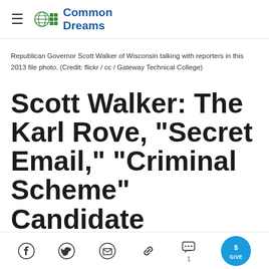Common Dreams
Republican Governor Scott Walker of Wisconsin talking with reporters in this 2013 file photo. (Credit: flickr / cc / Gateway Technical College)
Scott Walker: The Karl Rove, "Secret Email," "Criminal Scheme" Candidate
[Figure (other): Social sharing toolbar with Facebook, Twitter, email, link, comments (1), and GIVE button icons]